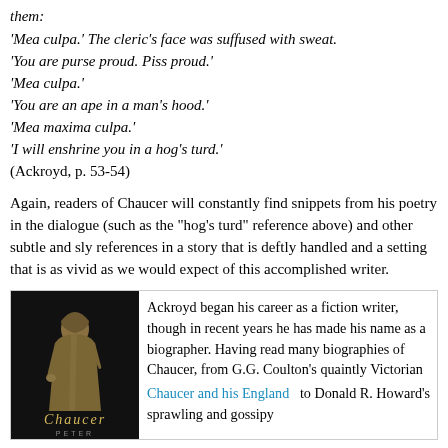them:
'Mea culpa.' The cleric's face was suffused with sweat.
'You are purse proud. Piss proud.'
'Mea culpa.'
'You are an ape in a man's hood.'
'Mea maxima culpa.'
'I will enshrine you in a hog's turd.'
(Ackroyd, p. 53-54)
Again, readers of Chaucer will constantly find snippets from his poetry in the dialogue (such as the "hog's turd" reference above) and other subtle and sly references in a story that is deftly handled and a setting that is as vivid as we would expect of this accomplished writer.
[Figure (photo): Book cover of 'Chaucer' by Peter Ackroyd, showing a medieval portrait figure in brown robes against a dark background with the title 'Chaucer' in stylized font and 'PETER' at the bottom.]
Ackroyd began his career as a fiction writer, though in recent years he has made his name as a biographer. Having read many biographies of Chaucer, from G.G. Coulton's quaintly Victorian
Chaucer and his England   to Donald R. Howard's sprawling and gossipy